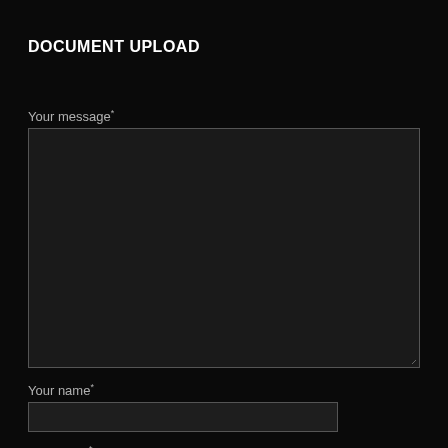DOCUMENT UPLOAD
Your message*
[Figure (screenshot): Large text area input box with dark background and gray border, with resize handle at bottom-right corner]
Your name*
[Figure (screenshot): Single-line text input field with dark background and gray border]
Your email*